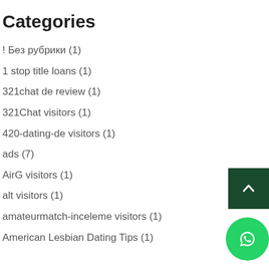Categories
! Без рубрики (1)
1 stop title loans (1)
321chat de review (1)
321Chat visitors (1)
420-dating-de visitors (1)
ads (7)
AirG visitors (1)
alt visitors (1)
amateurmatch-inceleme visitors (1)
American Lesbian Dating Tips (1)